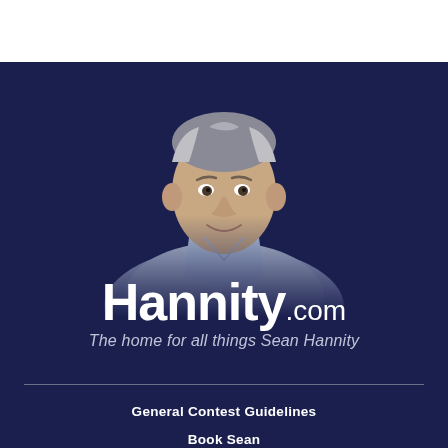[Figure (illustration): Hannity.com promotional banner with a middle-aged man with grey hair wearing a light blue collared shirt, smiling, set against a dark navy background. Below him is the Hannity.com logo in large white bold text with '.com' in smaller weight, followed by the tagline 'The home for all things Sean Hannity' in italic grey text.]
General Contest Guidelines
Book Sean